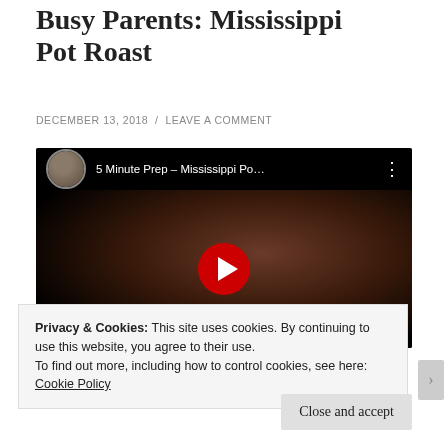Busy Parents: Mississippi Pot Roast
DECEMBER 13, 2018 / LEAVE A COMMENT
[Figure (screenshot): YouTube video embed showing a man in a red shirt with title '5 Minute Prep - Mississippi Po...' and a red play button overlay on a dark background]
Privacy & Cookies: This site uses cookies. By continuing to use this website, you agree to their use.
To find out more, including how to control cookies, see here:
Cookie Policy
Close and accept